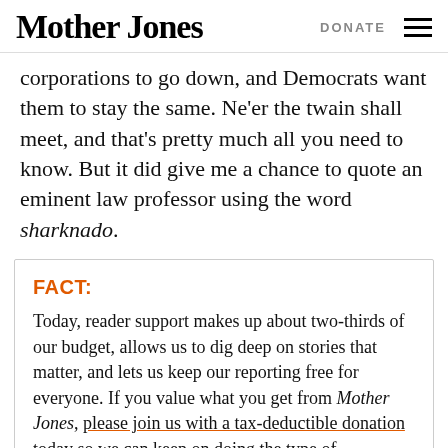Mother Jones | DONATE
corporations to go down, and Democrats want them to stay the same. Ne'er the twain shall meet, and that's pretty much all you need to know. But it did give me a chance to quote an eminent law professor using the word sharknado.
FACT:
Today, reader support makes up about two-thirds of our budget, allows us to dig deep on stories that matter, and lets us keep our reporting free for everyone. If you value what you get from Mother Jones, please join us with a tax-deductible donation today so we can keep on doing the type of journalism 2022 demands.